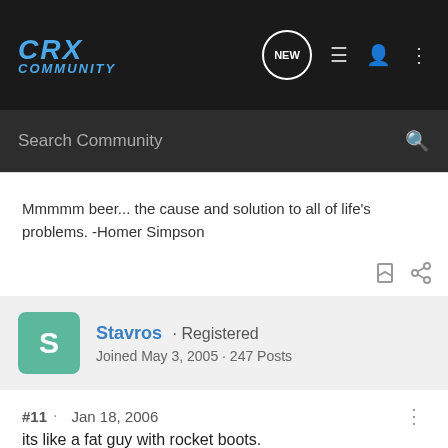CRX Community
Mmmmm beer... the cause and solution to all of life's problems. -Homer Simpson
Stavros · Registered
Joined May 3, 2005 · 247 Posts
#11 · Jan 18, 2006
its like a fat guy with rocket boots.
sure he runs real fast, but he eats the entire all-you-can-eat buffet between sprints.